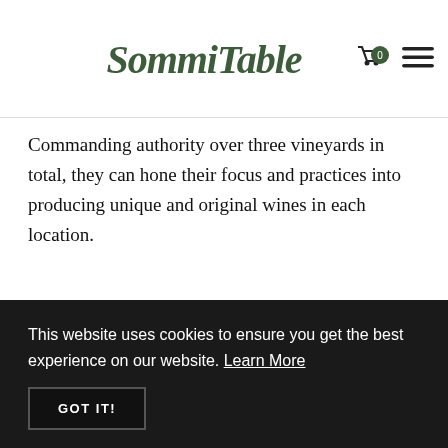SommiTable
Commanding authority over three vineyards in total, they can hone their focus and practices into producing unique and original wines in each location.
Today, we're talking about icewine, which takes us to their winery at Niagara-on-the-Lake – and we all know what happens there. Now, a small
This website uses cookies to ensure you get the best experience on our website. Learn More
GOT IT!